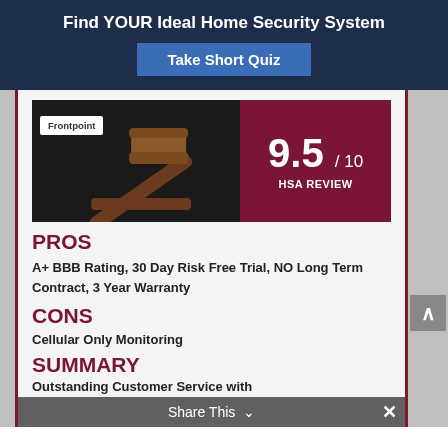Find YOUR Ideal Home Security System
Take Short Quiz
[Figure (photo): Frontpoint logo badge over a gavel/judge's mallet photo on dark background, with a crimson panel showing 9.5 / 10 HSA REVIEW score]
PROS
A+ BBB Rating, 30 Day Risk Free Trial, NO Long Term Contract, 3 Year Warranty
CONS
Cellular Only Monitoring
SUMMARY
Outstanding Customer Service with
Share This